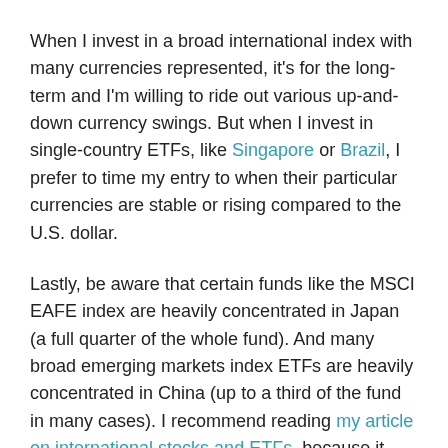When I invest in a broad international index with many currencies represented, it's for the long-term and I'm willing to ride out various up-and-down currency swings. But when I invest in single-country ETFs, like Singapore or Brazil, I prefer to time my entry to when their particular currencies are stable or rising compared to the U.S. dollar.
Lastly, be aware that certain funds like the MSCI EAFE index are heavily concentrated in Japan (a full quarter of the whole fund). And many broad emerging markets index ETFs are heavily concentrated in China (up to a third of the fund in many cases). I recommend reading my article on international stocks and ETFs, because it